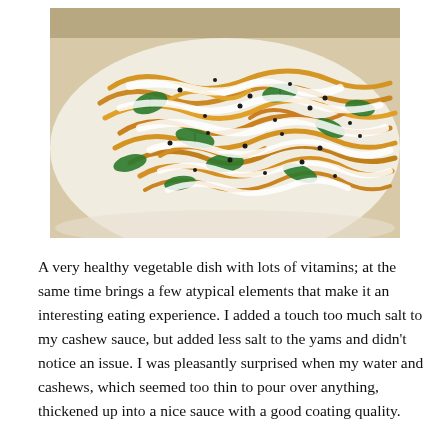[Figure (photo): A plate of spiralized yellow/golden vegetable noodles (yams) topped with fresh spinach leaves, cashew cream sauce drizzled over top, and sesame seeds, served on a white plate.]
A very healthy vegetable dish with lots of vitamins; at the same time brings a few atypical elements that make it an interesting eating experience. I added a touch too much salt to my cashew sauce, but added less salt to the yams and didn't notice an issue. I was pleasantly surprised when my water and cashews, which seemed too thin to pour over anything, thickened up into a nice sauce with a good coating quality.